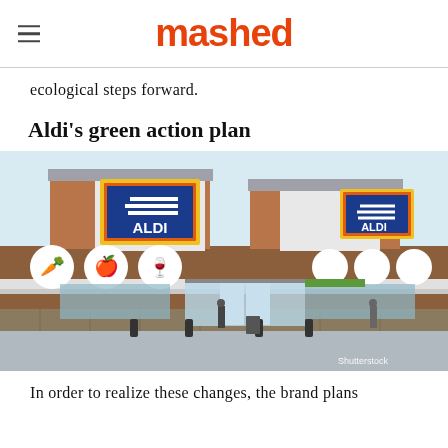mashed
ecological steps forward.
Aldi's green action plan
[Figure (photo): Exterior photograph of an Aldi supermarket store building with brick facade, blue Aldi signs with yellow borders, white decorative circles with food icons, and glass entrance doors. Shutterstock watermark visible.]
In order to realize these changes, the brand plans